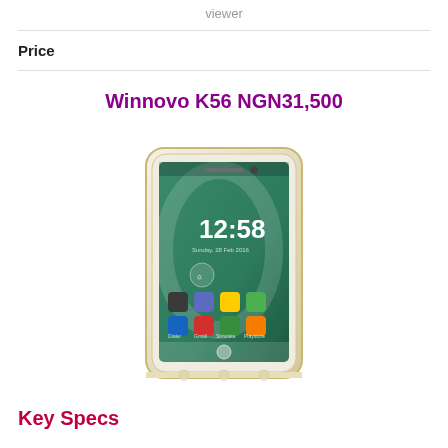viewer
Price
Winnovo K56 NGN31,500
[Figure (photo): A Winnovo K56 smartphone shown at an angle, white/gold color with Android home screen displaying time 12:58 and various app icons on a green/teal background.]
Key Specs